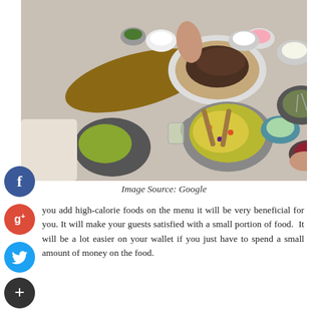[Figure (photo): Overhead view of a spread of Mexican food — tacos, bowls of salsa, guacamole, corn salad, tortilla chips, sauces, and various toppings on a table with multiple hands reaching in.]
Image Source: Google
you add high-calorie foods on the menu it will be very beneficial for you. It will make your guests satisfied with a small portion of food.  It will be a lot easier on your wallet if you just have to spend a small amount of money on the food.